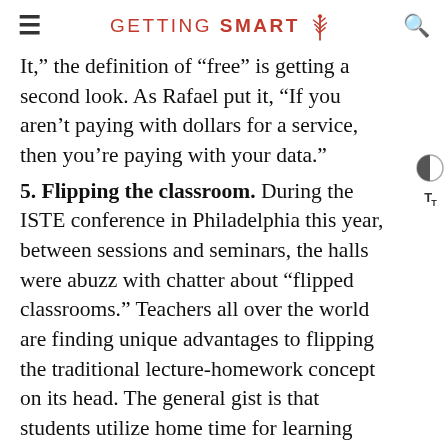GETTING SMART
It,” the definition of “free” is getting a second look. As Rafael put it, “If you aren’t paying with dollars for a service, then you’re paying with your data.”
5. Flipping the classroom. During the ISTE conference in Philadelphia this year, between sessions and seminars, the halls were abuzz with chatter about “flipped classrooms.” Teachers all over the world are finding unique advantages to flipping the traditional lecture-homework concept on its head. The general gist is that students utilize home time for learning principles, then class time is freed for personalized interactions with the teacher. Take,